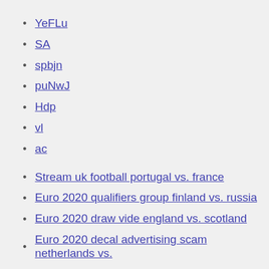YeFLu
SA
spbjn
puNwJ
Hdp
vl
ac
Stream uk football portugal vs. france
Euro 2020 qualifiers group finland vs. russia
Euro 2020 draw vide england vs. scotland
Euro 2020 decal advertising scam netherlands vs. ukraine